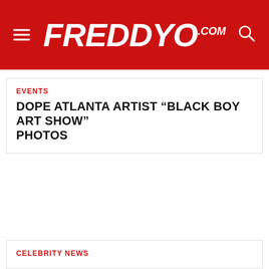FreddyO.com
EVENTS
DOPE ATLANTA ARTIST “BLACK BOY ART SHOW” PHOTOS
CELEBRITY NEWS